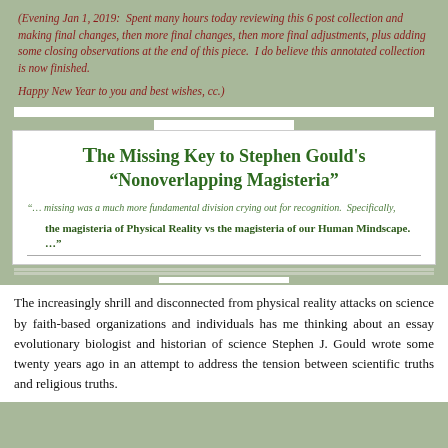(Evening Jan 1, 2019:  Spent many hours today reviewing this 6 post collection and making final changes, then more final changes, then more final adjustments, plus adding some closing observations at the end of this piece.  I do believe this annotated collection is now finished.

Happy New Year to you and best wishes, cc.)
The Missing Key to Stephen Gould's “Nonoverlapping Magisteria”
“… missing was a much more fundamental division crying out for recognition.  Specifically,

the magisteria of Physical Reality vs the magisteria of our Human Mindscape. …”
The increasingly shrill and disconnected from physical reality attacks on science by faith-based organizations and individuals has me thinking about an essay evolutionary biologist and historian of science Stephen J. Gould wrote some twenty years ago in an attempt to address the tension between scientific truths and religious truths.